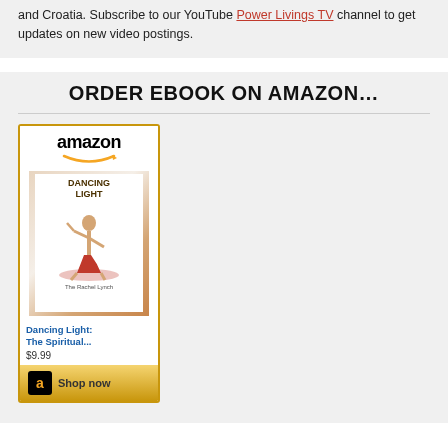and Croatia. Subscribe to our YouTube Power Livings TV channel to get updates on new video postings.
ORDER EBOOK ON AMAZON…
[Figure (other): Amazon widget showing book 'Dancing Light: The Spiritual...' priced at $9.99 with a Shop now button]